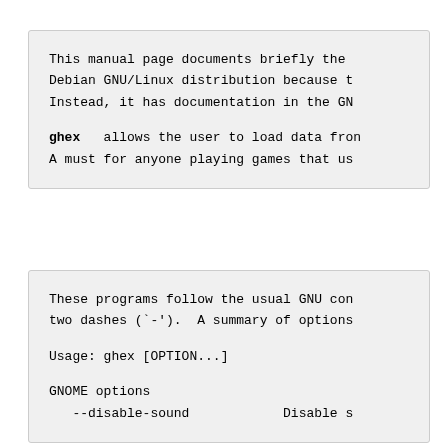This manual page documents briefly the Debian GNU/Linux distribution because t Instead, it has documentation in the GN

ghex  allows the user to load data from A must for anyone playing games that us
These programs follow the usual GNU com two dashes (`-').  A summary of options

Usage: ghex [OPTION...]

GNOME options
   --disable-sound          Disable s